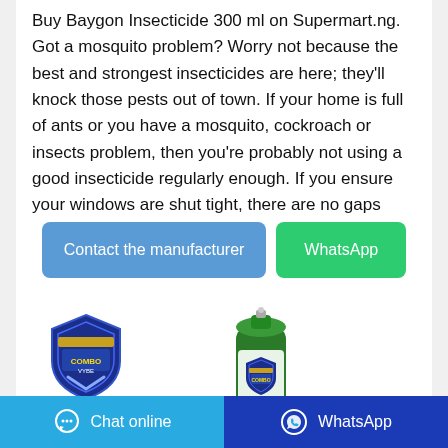Buy Baygon Insecticide 300 ml on Supermart.ng. Got a mosquito problem? Worry not because the best and strongest insecticides are here; they'll knock those pests out of town. If your home is full of ants or you have a mosquito, cockroach or insects problem, then you're probably not using a good insecticide regularly enough. If you ensure your windows are shut tight, there are no gaps under your
Contact the manufacturer
WhatsApp
[Figure (logo): Combo brand insecticide logo — blue shield shape with brand name]
[Figure (photo): Green aerosol spray can of Combo insecticide with blue shield logo and yellow/green design]
Chat online   WhatsApp